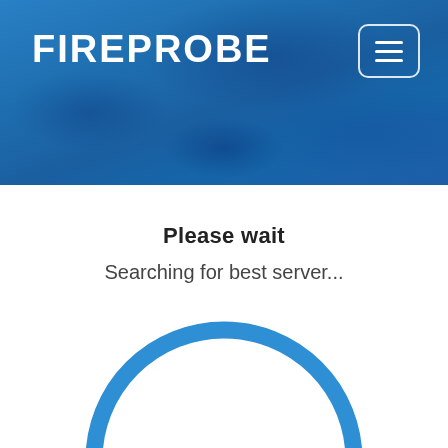FIREPROBE
Please wait
Searching for best server...
[Figure (other): Large blue circular spinner/loading indicator with three small blue dots in the center-right area, partially cropped at the bottom of the page]